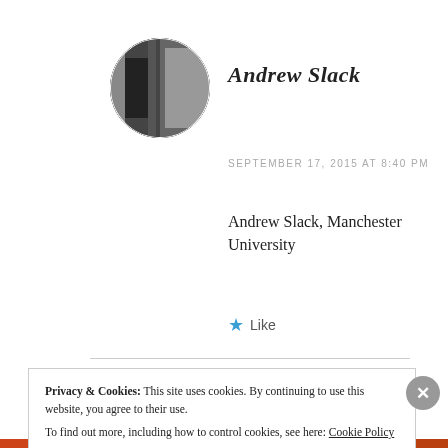[Figure (photo): Circular avatar photo of Andrew Slack, black and white, showing a person near a window frame]
Andrew Slack
SEPTEMBER 17, 2015 AT 8:40 PM
Andrew Slack, Manchester University
★ Like
Privacy & Cookies: This site uses cookies. By continuing to use this website, you agree to their use.
To find out more, including how to control cookies, see here: Cookie Policy
Close and accept